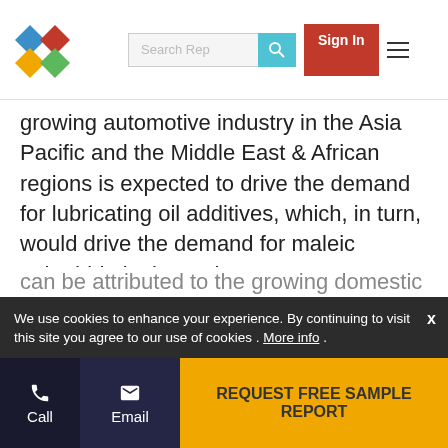Search Rep | Sign In
growing automotive industry in the Asia Pacific and the Middle East & African regions is expected to drive the demand for lubricating oil additives, which, in turn, would drive the demand for maleic anhydride in the region.
Asia Pacific is estimated to be the largest maleic anhydride market in 2020, in terms of value
Asia Pacific is projected to be the largest maleic anhydride market, in terms of value, in 2020 due to the rise in the automotive production. The maleic anhydride market in the Asia Pacific is also projected to grow at the highest CAGR, in terms of value, during the forecast period. This
We use cookies to enhance your experience. By continuing to visit this site you agree to our use of cookies . More info .   industries, and growing
Call | Email | REQUEST FREE SAMPLE REPORT